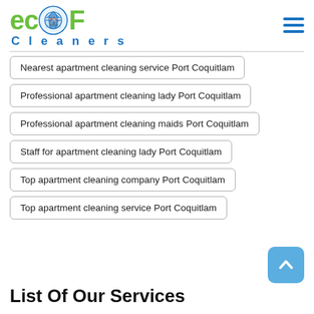[Figure (logo): EcoF Cleaners logo with green 'ec' letters, circular icon with blue house graphic, green 'F', and 'Cleaners' in blue below]
Nearest apartment cleaning service Port Coquitlam
Professional apartment cleaning lady Port Coquitlam
Professional apartment cleaning maids Port Coquitlam
Staff for apartment cleaning lady Port Coquitlam
Top apartment cleaning company Port Coquitlam
Top apartment cleaning service Port Coquitlam
List Of Our Services